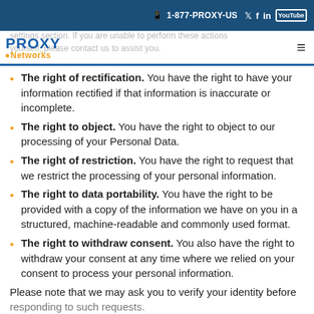1-877-PROXY-US
[Figure (logo): Proxy Networks logo with blue PROXY text and orange Networks text]
settings section. If you are unable to perform these actions yourself, please contact us to assist you.
The right of rectification. You have the right to have your information rectified if that information is inaccurate or incomplete.
The right to object. You have the right to object to our processing of your Personal Data.
The right of restriction. You have the right to request that we restrict the processing of your personal information.
The right to data portability. You have the right to be provided with a copy of the information we have on you in a structured, machine-readable and commonly used format.
The right to withdraw consent. You also have the right to withdraw your consent at any time where we relied on your consent to process your personal information.
Please note that we may ask you to verify your identity before responding to such requests.